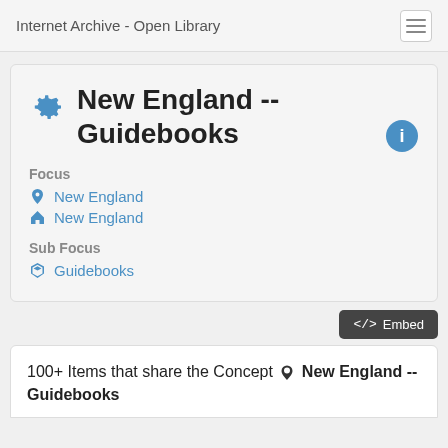Internet Archive - Open Library
New England -- Guidebooks
Focus
New England
New England
Sub Focus
Guidebooks
100+ Items that share the Concept  New England -- Guidebooks